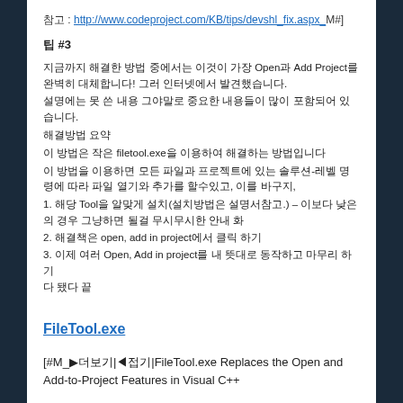참고 : http://www.codeproject.com/KB/tips/devshl_fix.aspx_M#]
팁 #3
지금까지 해결한 방법 중에서는 이것이 가장 Open과 Add Project를 완벽히 대체합니다! 그러 인터넷에서 발견했습니다.
설명에는 못 쓴 내용 그야말로 중요한 내용들이 많이 포함되어 있습니다.
해결방법 요약
이 방법은 작은 filetool.exe을 이용하여 해결하는 방법입니다
이 방법을 이용하면 모든 파일과 프로젝트에 있는 솔루션-레벨 명령에 따라 파일 열기와 추가를 할수있고, 이를 바구지,
1. 해당 Tool을 알맞게 설치(설치방법은 설명서참고.) – 이보다 낮은의 경우 그냥하면 될걸 무시무시한 안내 화
2. 해결책은 open, add in project에서 클릭 하기
3. 이제 여러 Open, Add in project를 내 뜻대로 동작하고 마무리 하기
다 됐다 끝
FileTool.exe
[#M_▶더보기|◀접기|FileTool.exe Replaces the Open and Add-to-Project Features in Visual C++